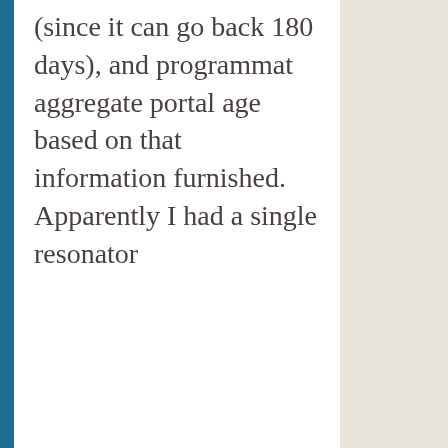(since it can go back 180 days), and programmatically aggregate portal age based on that information furnished. Apparently I had a single resonator